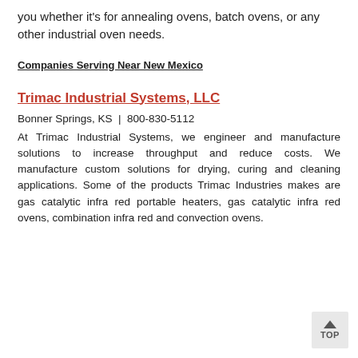you whether it's for annealing ovens, batch ovens, or any other industrial oven needs.
Companies Serving Near New Mexico
Trimac Industrial Systems, LLC
Bonner Springs, KS  |  800-830-5112
At Trimac Industrial Systems, we engineer and manufacture solutions to increase throughput and reduce costs. We manufacture custom solutions for drying, curing and cleaning applications. Some of the products Trimac Industries makes are gas catalytic infra red portable heaters, gas catalytic infra red ovens, combination infra red and convection ovens.